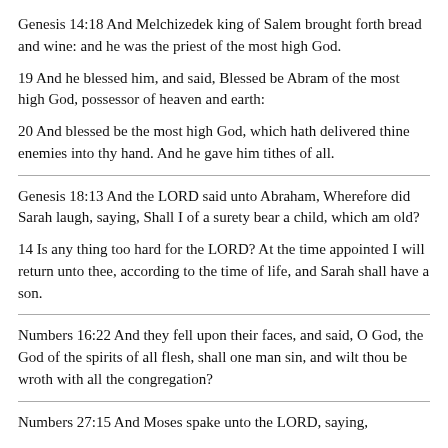Genesis 14:18 And Melchizedek king of Salem brought forth bread and wine: and he was the priest of the most high God.
19 And he blessed him, and said, Blessed be Abram of the most high God, possessor of heaven and earth:
20 And blessed be the most high God, which hath delivered thine enemies into thy hand. And he gave him tithes of all.
Genesis 18:13 And the LORD said unto Abraham, Wherefore did Sarah laugh, saying, Shall I of a surety bear a child, which am old?
14 Is any thing too hard for the LORD? At the time appointed I will return unto thee, according to the time of life, and Sarah shall have a son.
Numbers 16:22 And they fell upon their faces, and said, O God, the God of the spirits of all flesh, shall one man sin, and wilt thou be wroth with all the congregation?
Numbers 27:15 And Moses spake unto the LORD, saying,